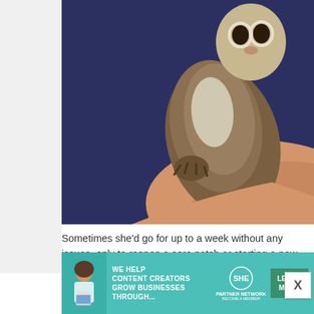[Figure (photo): Close-up photo of a small animal (ferret or similar) being held by a person against a dark navy blue background. The animal has brown and white fur.]
Sometimes she'd go for up to a week without any issues, only to reopen a sore patch or starting a new one.
[Figure (infographic): Advertisement banner for SHE Media Partner Network. Green/teal background. Text reads: WE HELP CONTENT CREATORS GROW BUSINESSES THROUGH... SHE Partner Network BECOME A MEMBER. LEARN MORE button.]